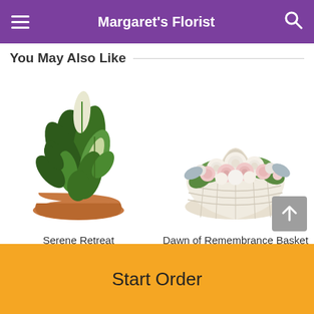Margaret's Florist
You May Also Like
[Figure (photo): A lush green houseplant arrangement with peace lily and dieffenbachia in a terracotta bowl pot.]
Serene Retreat
From $89.95
[Figure (photo): A white basket filled with pink and white roses and mixed flowers with a white handle.]
Dawn of Remembrance Basket
Start Order